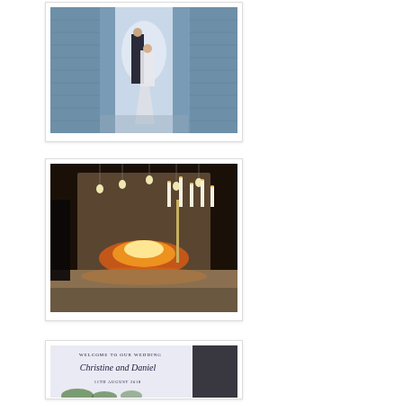[Figure (photo): Wedding couple standing in ornate doorway with blue tiled walls, seen from a distance, bride in white dress and groom in dark suit]
[Figure (photo): Warm candlelit reception venue interior showing a large stone fireplace with open fire, hanging Edison bulbs, and tall white candelabras with candles on a stone ledge]
[Figure (photo): Close-up of a wedding welcome sign reading 'WELCOME TO OUR WEDDING Christine and Daniel 11TH AUGUST 2018' with floral greenery decoration at the bottom, partially obscured by a person in dark clothing on the right]